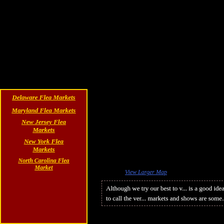Delaware Flea Markets
Maryland Flea Markets
New Jersey Flea Markets
New York Flea Markets
North Carolina Flea Markets
View Larger Map
Although we try our best to v... is a good idea to call the ver... markets and shows are some...